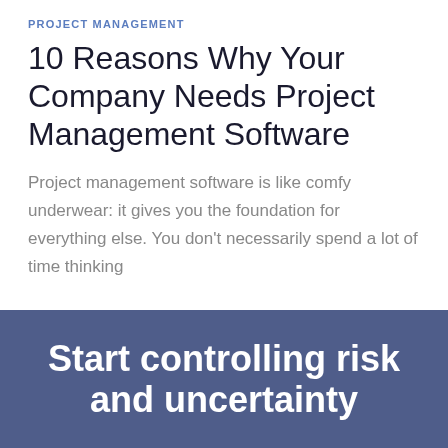PROJECT MANAGEMENT
10 Reasons Why Your Company Needs Project Management Software
Project management software is like comfy underwear: it gives you the foundation for everything else. You don't necessarily spend a lot of time thinking
Start controlling risk and uncertainty